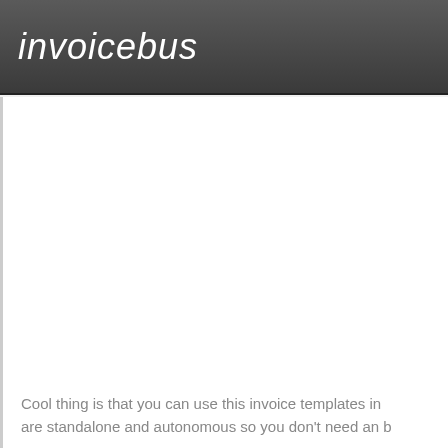invoicebus
Cool thing is that you can use this invoice templates in are standalone and autonomous so you don't need an b